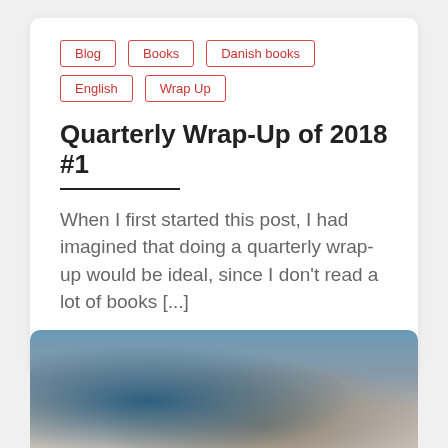Blog
Books
Danish books
English
Wrap Up
Quarterly Wrap-Up of 2018 #1
When I first started this post, I had imagined that doing a quarterly wrap-up would be ideal, since I don't read a lot of books [...]
24. april 2018
[Figure (photo): Photo of books or records stacked vertically with a smartphone in front, blurred background with blue tones]